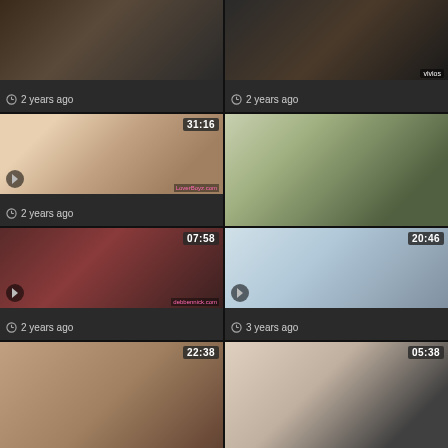[Figure (screenshot): Video thumbnail grid row 1 left, timestamp area, clock icon, text '2 years ago']
2 years ago
[Figure (screenshot): Video thumbnail grid row 1 right, clock icon, text '2 years ago']
2 years ago
[Figure (screenshot): Video thumbnail row 2 left, duration 31:16]
2 years ago
[Figure (screenshot): Video thumbnail row 2 right, no duration shown]
[Figure (screenshot): Video thumbnail row 3 left, duration 07:58]
2 years ago
[Figure (screenshot): Video thumbnail row 3 right, duration 20:46]
3 years ago
[Figure (screenshot): Video thumbnail row 4 left, duration 22:38, partially visible]
[Figure (screenshot): Video thumbnail row 4 right, duration 05:38, partially visible]